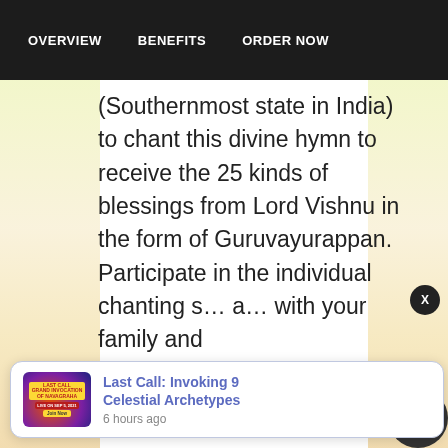OVERVIEW   BENEFITS   ORDER NOW
(Southernmost state in India) to chant this divine hymn to receive the 25 kinds of blessings from Lord Vishnu in the form of Guruvayurappan. Participate in the individual chanting s... a... with your family and
[Figure (screenshot): Notification popup with image thumbnail showing 'Last Call: Invoking 9 Celestial Archetypes' with '6 hours ago' timestamp, and a close X button]